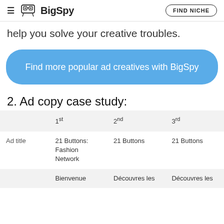BigSpy | FIND NICHE
help you solve your creative troubles.
[Figure (other): Blue rounded rectangle button with text: Find more popular ad creatives with BigSpy]
2. Ad copy case study:
|  | 1st | 2nd | 3rd |
| --- | --- | --- | --- |
| Ad title | 21 Buttons: Fashion Network | 21 Buttons | 21 Buttons |
|  | Bienvenue | Découvres les | Découvres les |